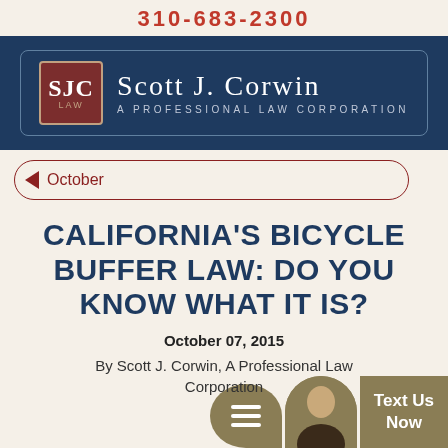310-683-2300
[Figure (logo): Scott J. Corwin A Professional Law Corporation logo with SJC LAW monogram in dark red box on dark navy background]
October
CALIFORNIA'S BICYCLE BUFFER LAW: DO YOU KNOW WHAT IT IS?
October 07, 2015
By Scott J. Corwin, A Professional Law Corporation